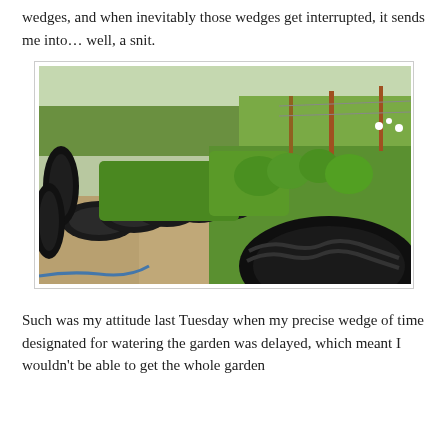wedges, and when inevitably those wedges get interrupted, it sends me into… well, a snit.
[Figure (photo): Garden photo showing rows of plants growing inside and around large black tractor tires used as planters, with dirt paths and fencing visible in the background on a sunny day.]
Such was my attitude last Tuesday when my precise wedge of time designated for watering the garden was delayed, which meant I wouldn't be able to get the whole garden